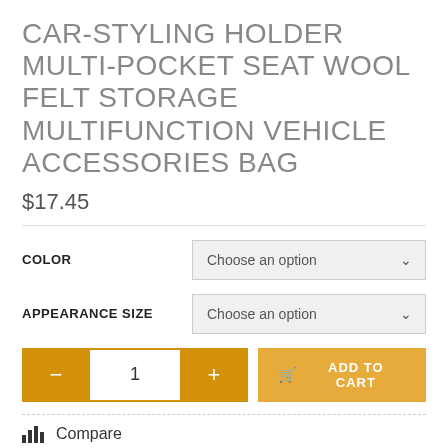CAR-STYLING HOLDER MULTI-POCKET SEAT WOOL FELT STORAGE MULTIFUNCTION VEHICLE ACCESSORIES BAG
$17.45
COLOR — Choose an option
APPEARANCE SIZE — Choose an option
− 1 + ADD TO CART
Compare
SKU: CJQCNBQC00045
Category: Interior Accessories